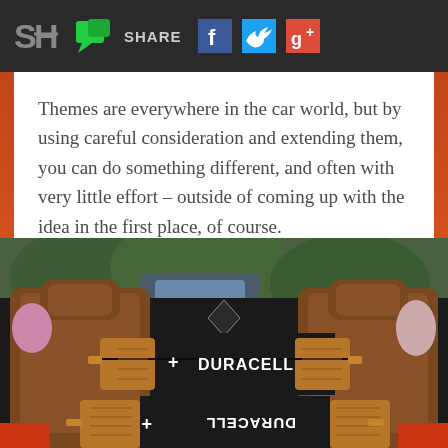SH SHARE [Facebook] [Twitter] [Google+]
Themes are everywhere in the car world, but by using careful consideration and extending them, you can do something different, and often with very little effort – outside of coming up with the idea in the first place, of course.
[Figure (photo): Interior of a car trunk/boot showing two large Duracell battery-styled cylindrical objects placed in the rear cargo area, with brown leather seats visible. The upper battery shows '+  DURACELL' text and the lower one shows 'DURACELL +' text mirrored/upside down.]